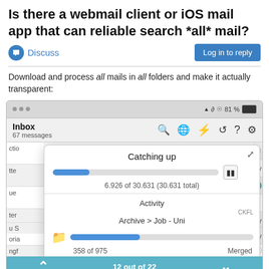Is there a webmail client or iOS mail app that can reliable search *all* mail?
Discuss | Log in to reply
Download and process all mails in all folders and make it actually transparent:
[Figure (screenshot): iOS mail app screenshot showing Inbox with 67 messages, a 'Catching up' popup displaying progress bar at 6.926 of 30.631 (30.631 total), Activity section showing Archive > Job - Uni, folder progress bar at 358 of 975, and Merged label. Bottom nav bar shows '12 out of 22'.]